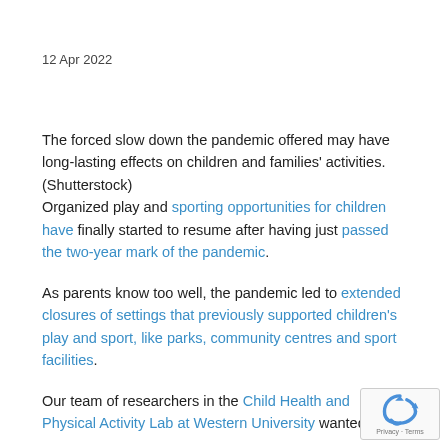12 Apr 2022
The forced slow down the pandemic offered may have long-lasting effects on children and families' activities. (Shutterstock)
Organized play and sporting opportunities for children have finally started to resume after having just passed the two-year mark of the pandemic.
As parents know too well, the pandemic led to extended closures of settings that previously supported children's play and sport, like parks, community centres and sport facilities.
Our team of researchers in the Child Health and Physical Activity Lab at Western University wanted to